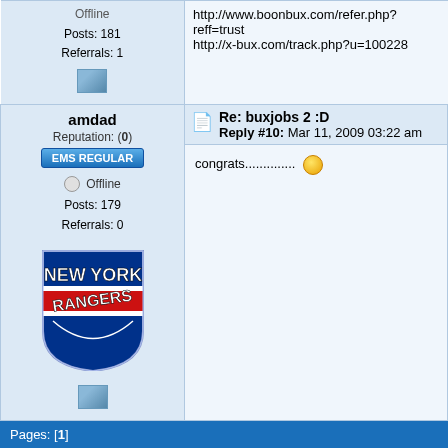| User Info | Post Content |
| --- | --- |
| Posts: 181
Referrals: 1 | http://www.boonbux.com/refer.php?reff=trust
http://x-bux.com/track.php?u=100228 |
| amdad
Reputation: (0)
EMS REGULAR
Offline
Posts: 179
Referrals: 0
[NY Rangers logo] | Re: buxjobs 2 :D
Reply #10: Mar 11, 2009 03:22 am

congrats.............. |
Pages: [1]
Jump to: => Praises and A
Copyright © 2008-202
Powered by SMF 1.1.21 | SMF ©